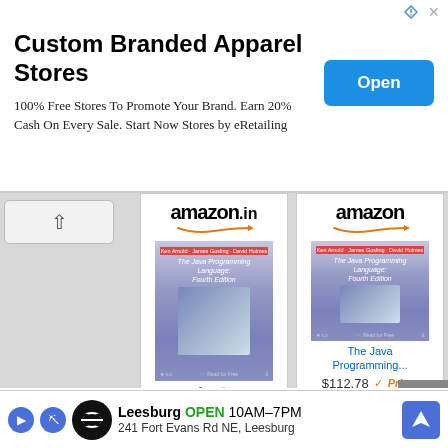[Figure (screenshot): Top banner advertisement for Custom Branded Apparel Stores with Open button]
Custom Branded Apparel Stores
100% Free Stores To Promote Your Brand. Earn 20% Cash On Every Sale. Start Now Stores by eRetailing
[Figure (screenshot): Amazon.in product listing for Java Programming book]
[Figure (screenshot): Amazon product listing for The Java Programming book at $112.78 Prime with Shop now button]
[Figure (screenshot): Black video player overlay with loading circle]
nua Bloch & Neal Gafter
[Figure (screenshot): Bottom ad for Leesburg store OPEN 10AM-7PM at 241 Fort Evans Rd NE, Leesburg with navigation arrow icon]
"Java
n for